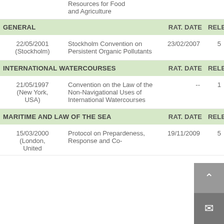|  | Resources for Food and Agriculture |  |  |
| --- | --- | --- | --- |
| GENERAL |  | RAT. DATE | RELEV. |
| 22/05/2001 (Stockholm) | Stockholm Convention on Persistent Organic Pollutants | 23/02/2007 | 5 |
| INTERNATIONAL WATERCOURSES |  | RAT. DATE | RELEV. |
| 21/05/1997 (New York, USA) | Convention on the Law of the Non-Navigational Uses of International Watercourses | -- | 1 |
| MARITIME AND LAW OF THE SEA |  | RAT. DATE | RELEV. |
| 15/03/2000 (London, United | Protocol on Prepardeness, Response and Co- | 19/11/2009 | 5 |